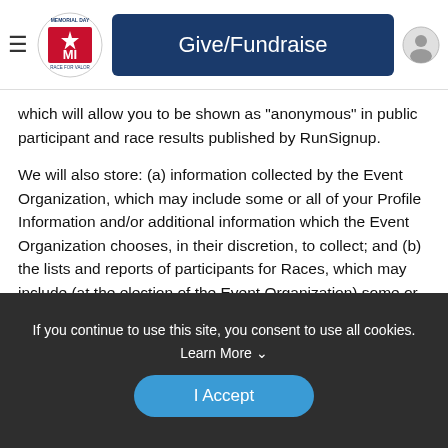Give/Fundraise
which will allow you to be shown as "anonymous" in public participant and race results published by RunSignup.
We will also store: (a) information collected by the Event Organization, which may include some or all of your Profile Information and/or additional information which the Event Organization chooses, in their discretion, to collect; and (b) the lists and reports of participants for Races, which may include (at the election of the Event Organization) some or all of the information described in (a) above (collectively, the "Race Data"). In addition, we will store your ID and password ("login credentials") that permits you to access your account on our Site. You should not share your login credentials with
If you continue to use this site, you consent to use all cookies. Learn More
I Accept